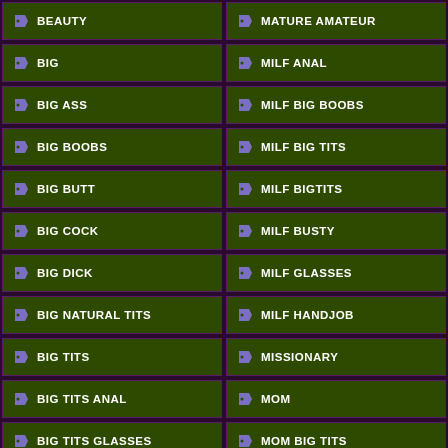BEAUTY
MATURE AMATEUR
BIG
MILF ANAL
BIG ASS
MILF BIG BOOBS
BIG BOOBS
MILF BIG TITS
BIG BUTT
MILF BIGTITS
BIG COCK
MILF BUSTY
BIG DICK
MILF GLASSES
BIG NATURAL TITS
MILF HANDJOB
BIG TITS
MISSIONARY
BIG TITS ANAL
MOM
BIG TITS GLASSES
MOM BIG TITS